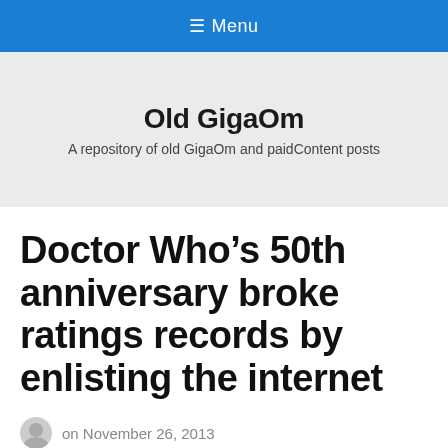≡ Menu
Old GigaOm
A repository of old GigaOm and paidContent posts
Doctor Who's 50th anniversary broke ratings records by enlisting the internet
on November 26, 2013